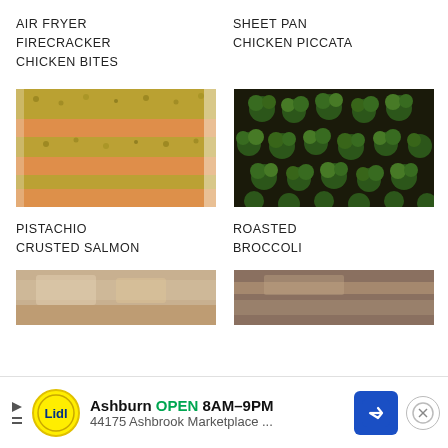AIR FRYER FIRECRACKER CHICKEN BITES
SHEET PAN CHICKEN PICCATA
[Figure (photo): Close-up of pistachio crusted salmon fillets with golden-green nut crust on parchment paper]
[Figure (photo): Overhead view of roasted broccoli florets on a dark sheet pan]
PISTACHIO CRUSTED SALMON
ROASTED BROCCOLI
[Figure (photo): Partial view of a baked dish with cheese and ingredients, cut off at bottom]
[Figure (photo): Partial view of a cooked meat dish, cut off at bottom]
Ashburn OPEN 8AM–9PM 44175 Ashbrook Marketplace ...